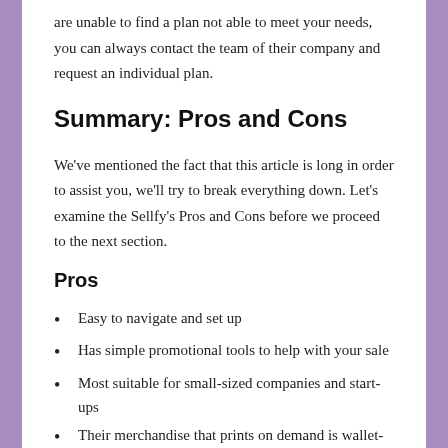are unable to find a plan not able to meet your needs, you can always contact the team of their company and request an individual plan.
Summary: Pros and Cons
We've mentioned the fact that this article is long in order to assist you, we'll try to break everything down. Let's examine the Sellfy's Pros and Cons before we proceed to the next section.
Pros
Easy to navigate and set up
Has simple promotional tools to help with your sale
Most suitable for small-sized companies and start-ups
Their merchandise that prints on demand is wallet-friendly
Allows you to sell digital and physical products